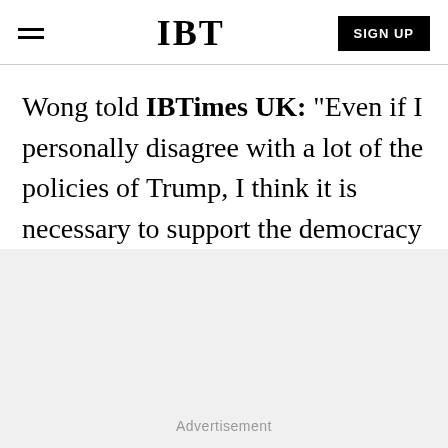IBT | SIGN UP
Wong told IBTimes UK: "Even if I personally disagree with a lot of the policies of Trump, I think it is necessary to support the democracy movement of Hong Kong and Taiwan. I hope it will be a good start."
Advertisement